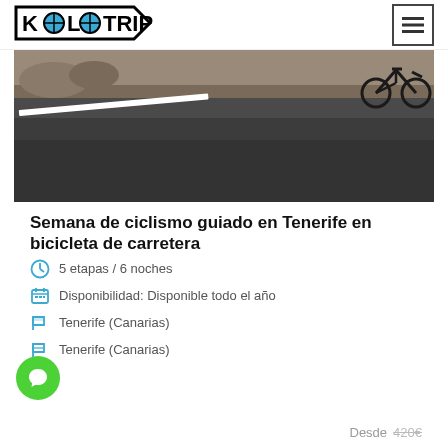KOLOTRIP
[Figure (photo): Road cycling photo showing a dark asphalt road with a white line, a bicycle visible in the upper right corner, and rocky/dry terrain in the background.]
Semana de ciclismo guiado en Tenerife en bicicleta de carretera
5 etapas / 6 noches
Disponibilidad: Disponible todo el año
Tenerife (Canarias)
Tenerife (Canarias)
Desde  420€